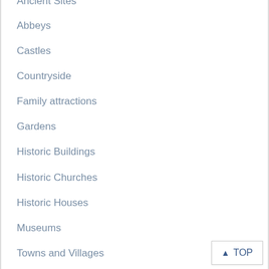Ancient Sites
Abbeys
Castles
Countryside
Family attractions
Gardens
Historic Buildings
Historic Churches
Historic Houses
Museums
Towns and Villages
Accommodation
Dorset Hotels